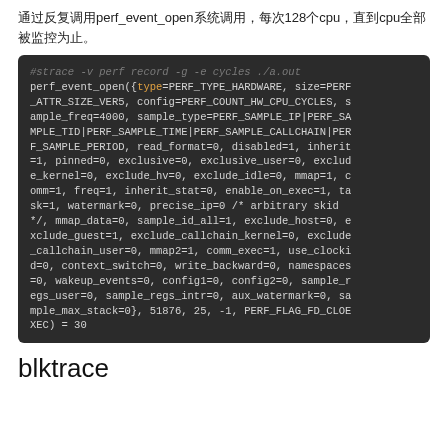通过反复调用perf_event_open系统调用，每次128个cpu，直到cpu全部被监控为止。
[Figure (screenshot): Code block showing strace output of perf_event_open syscall with detailed parameters including type, size, config, sample settings, and flags.]
blktrace